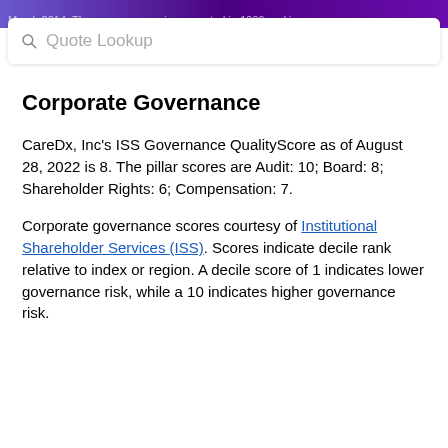March 2014. The company was incorporated in 1999 and is
Quote Lookup
Corporate Governance
CareDx, Inc's ISS Governance QualityScore as of August 28, 2022 is 8. The pillar scores are Audit: 10; Board: 8; Shareholder Rights: 6; Compensation: 7.
Corporate governance scores courtesy of Institutional Shareholder Services (ISS). Scores indicate decile rank relative to index or region. A decile score of 1 indicates lower governance risk, while a 10 indicates higher governance risk.